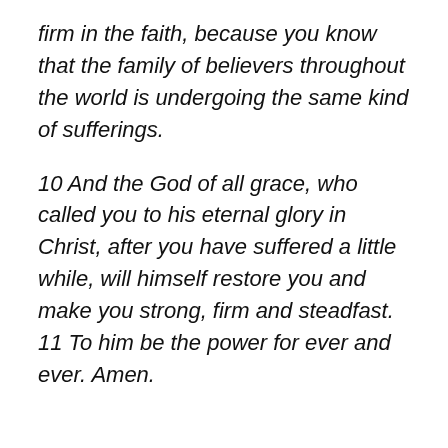firm in the faith, because you know that the family of believers throughout the world is undergoing the same kind of sufferings.
10 And the God of all grace, who called you to his eternal glory in Christ, after you have suffered a little while, will himself restore you and make you strong, firm and steadfast. 11 To him be the power for ever and ever. Amen.